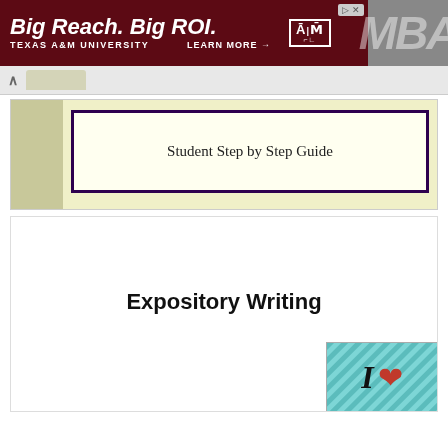[Figure (screenshot): Texas A&M University MBA advertisement banner with maroon background, bold white italic text 'Big Reach. Big ROI.', university logo, 'LEARN MORE →' link, and faded gray 'MBA' text on right]
[Figure (screenshot): Browser navigation bar with back chevron and olive/tan tab]
Student Step by Step Guide
Expository Writing
[Figure (photo): Thumbnail image with teal diagonal stripe background, bold letter 'I' and a red heart shape]